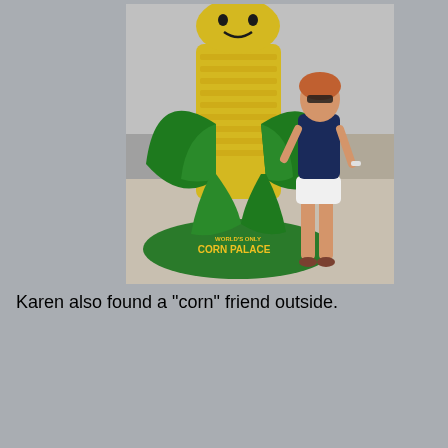[Figure (photo): A woman in a navy blue top and white shorts standing next to a large decorative corn sculpture outside the World's Only Corn Palace. The sculpture is green and yellow with 'WORLD'S ONLY CORN PALACE' written on the base.]
Karen also found a "corn" friend outside.